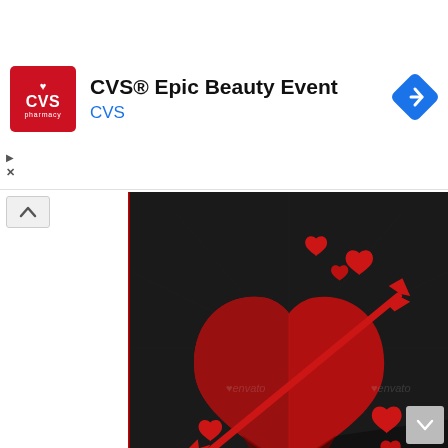[Figure (logo): CVS Pharmacy red square logo with white heart and text]
CVS® Epic Beauty Event
CVS
[Figure (infographic): Navigation/directions diamond-shaped blue icon with right arrow]
[Figure (photo): Valentine's Day event flyer with dark background, large red 3D paper-cut heart pierced by a red arrow, smaller hearts around it, watermark 'envato' repeated. Text at bottom: SPECIAL GUESTS, DJ ROBERTO | DJ GORDON | MC TOMMY, STARTS: 23:00 | ENTRY: $15, 302 WEST STREET 412 SOMECITY TEL: 555 555 5555]